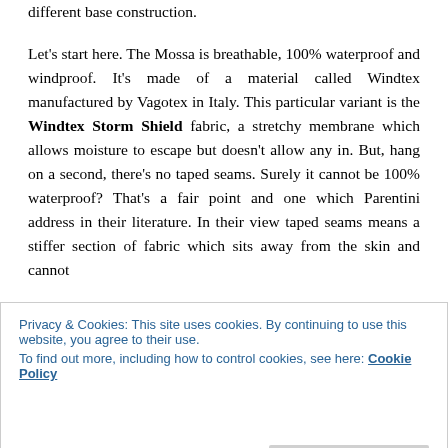different base construction.
Let's start here. The Mossa is breathable, 100% waterproof and windproof. It's made of a material called Windtex manufactured by Vagotex in Italy. This particular variant is the Windtex Storm Shield fabric, a stretchy membrane which allows moisture to escape but doesn't allow any in. But, hang on a second, there's no taped seams. Surely it cannot be 100% waterproof? That's a fair point and one which Parentini address in their literature. In their view taped seams means a stiffer section of fabric which sits away from the skin and cannot
Privacy & Cookies: This site uses cookies. By continuing to use this website, you agree to their use.
To find out more, including how to control cookies, see here: Cookie Policy
I found it less water resistant than the Gabba. So the